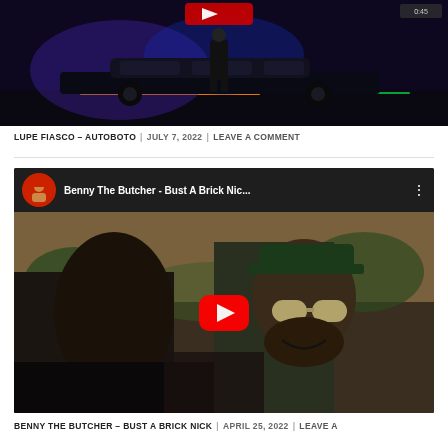[Figure (screenshot): YouTube video thumbnail for Lupe Fiasco - Autoboto showing a dark scene with a car and neon lighting, with a red YouTube play button overlay at top]
LUPE FIASCO – AUTOBOTO | JULY 7, 2022 | LEAVE A COMMENT
[Figure (screenshot): YouTube video embed for Benny The Butcher - Bust A Brick Nic... showing Benny The Butcher with sunglasses and a green hat, with red YouTube play button overlay]
BENNY THE BUTCHER – BUST A BRICK NICK | APRIL 25, 2022 | LEAVE A